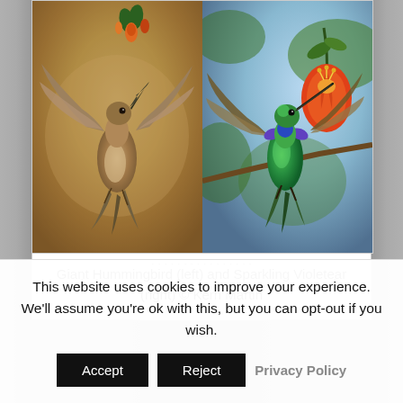[Figure (photo): Two hummingbirds in flight feeding on flowers. Left: Giant Hummingbird with brown/tan plumage feeding on orange flowers against a blurred golden background. Right: Sparkling Violetear with iridescent green and blue plumage near a large red-orange flower against a blue-green leafy background.]
Giant Hummingbird (left) and Sparkling Violetear (right) © Kerri Martin
This website uses cookies to improve your experience. We'll assume you're ok with this, but you can opt-out if you wish.